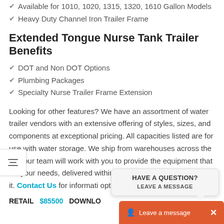Available for 1010, 1020, 1315, 1320, 1610 Gallon Models
Heavy Duty Channel Iron Trailer Frame
Extended Tongue Nurse Tank Trailer Benefits
DOT and Non DOT Options
Plumbing Packages
Specialty Nurse Trailer Frame Extension
Looking for other features? We have an assortment of water trailer vendors with an extensive offering of styles, sizes, and components at exceptional pricing. All capacities listed are for use with water storage. We ship from warehouses across the and our team will work with you to provide the equipment that fits your needs, delivered within the time frame that you need it. Contact Us for informati options.
RETAIL $85500 DOWNLO